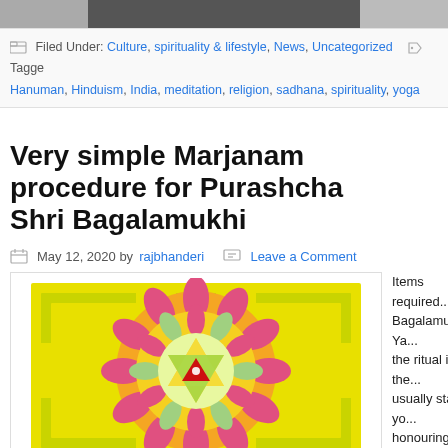[Figure (photo): Top banner image, partially visible, dark tones]
Filed Under: Culture, spirituality & lifestyle, News, Uncategorized   Tagged: Hanuman, Hinduism, India, meditation, religion, sadhana, spirituality, yoga
Very simple Marjanam procedure for Purashcha... Shri Bagalamukhi
May 12, 2020 by rajbhanderi   Leave a Comment
[Figure (illustration): Bagalamukhi Yantra — a colorful geometric mandala with lotus petals, triangles, and square border in yellow, orange, green, pink, and red]
Items required... Bagalamukhi Ya... the ritual in the... usually start yo... honouring the... meditating / co... Bagalamukhi a... Pancapuja etc.... of: "Oh Bagalan...